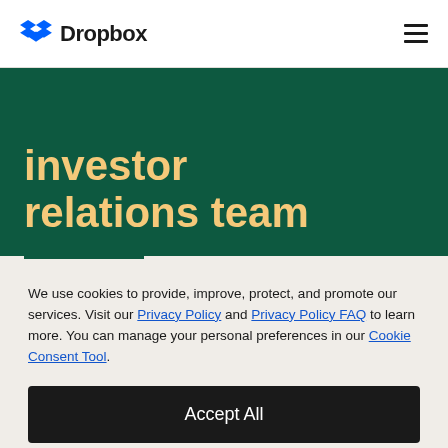Dropbox
investor relations team
We use cookies to provide, improve, protect, and promote our services. Visit our Privacy Policy and Privacy Policy FAQ to learn more. You can manage your personal preferences in our Cookie Consent Tool.
Accept All
Decline